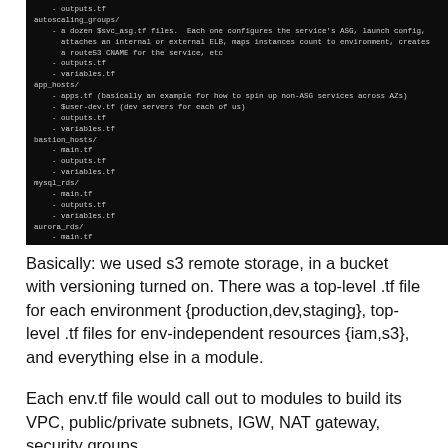[Figure (screenshot): Dark terminal/code screenshot showing a Terraform directory structure with folders: autoscaling_groups/, app_hosts/, bastion_hosts/, mysql_rds/, aurora_rds/, terraform_dns/, and top-level variables.tf and outputs.tf files.]
Basically: we used s3 remote storage, in a bucket with versioning turned on.  There was a top-level .tf file for each environment {production,dev,staging}, top-level .tf files for env-independent resources {iam,s3}, and everything else in a module.
Each env.tf file would call out to modules to build its VPC, public/private subnets, IGW, NAT gateway, security groups,